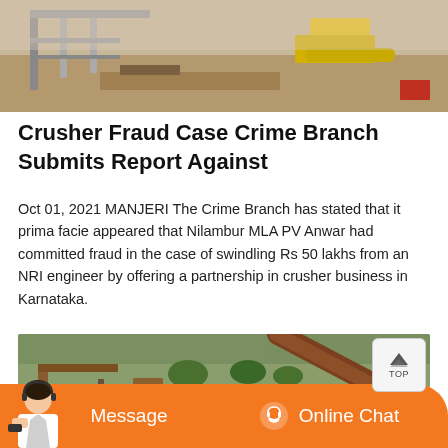[Figure (photo): Outdoor construction site with metal framework and yellow machinery, sandy ground]
Crusher Fraud Case Crime Branch Submits Report Against
Oct 01, 2021 MANJERI The Crime Branch has stated that it prima facie appeared that Nilambur MLA PV Anwar had committed fraud in the case of swindling Rs 50 lakhs from an NRI engineer by offering a partnership in crusher business in Karnataka.
[Figure (photo): Outdoor industrial stone crusher site with rusty metal structures, conveyor belts, and green hillside in background]
[Figure (other): Orange chat bar with Message and Online Chat buttons, and customer service agent image]